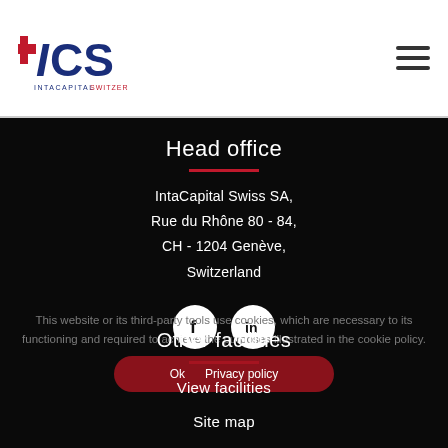[Figure (logo): ICS IntaCapital Switzerland logo with red and blue colors]
Head office
IntaCapital Swiss SA,
Rue du Rhône 80 - 84,
CH - 1204 Genève,
Switzerland
[Figure (infographic): Facebook and LinkedIn social media icons as white circles on dark background]
This website or its third-party tools use cookies, which are necessary to its functioning and required to achieve the purposes illustrated in the cookie policy.
Other facilities
Ok   Privacy policy
View facilities
Site map